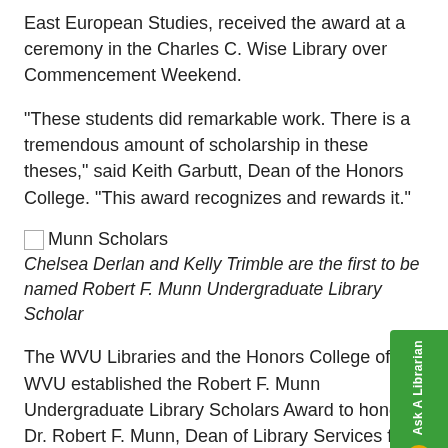East European Studies, received the award at a ceremony in the Charles C. Wise Library over Commencement Weekend.
“These students did remarkable work. There is a tremendous amount of scholarship in these theses,” said Keith Garbutt, Dean of the Honors College. “This award recognizes and rewards it.”
[Figure (photo): Munn Scholars image placeholder]
Chelsea Derlan and Kelly Trimble are the first to be named Robert F. Munn Undergraduate Library Scholars
The WVU Libraries and the Honors College of WVU established the Robert F. Munn Undergraduate Library Scholars Award to honor Dr. Robert F. Munn, Dean of Library Services from 1957-1986.
The award goes to a graduating Honors student or students for outstanding research in the humanities or